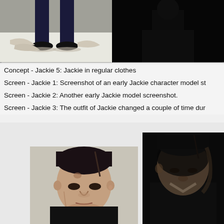[Figure (photo): Top-left image showing lower half of a person in dark pants and black dress shoes standing on a white surface]
[Figure (photo): Top-right image showing a dark/black screenshot of a character model in a dark environment]
Concept - Jackie 5: Jackie in regular clothes
Screen - Jackie 1: Screenshot of an early Jackie character model st
Screen - Jackie 2: Another early Jackie model screenshot.
Screen - Jackie 3: The outfit of Jackie changed a couple of time dur
[Figure (photo): Bottom-left photo of a heavyset man with short dark hair and a part, wearing a black suit and white shirt, photographed from a slightly elevated angle]
[Figure (photo): Bottom-right dark photo of the same man, head tilted downward, wearing a black suit, mostly in shadow]